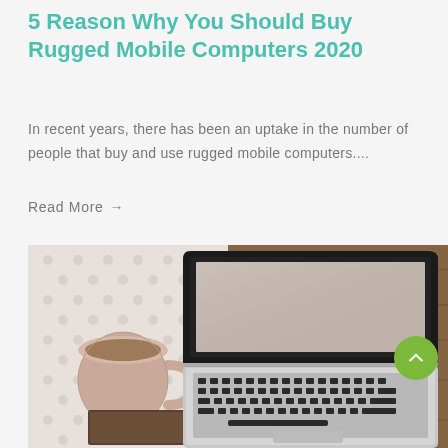5 Reason Why You Should Buy Rugged Mobile Computers 2020
In recent years, there has been an uptake in the number of people that buy and use rugged mobile computers....
Read More →
[Figure (photo): Overhead photo of an open laptop computer with a dark screen on a wooden surface, beside a coffee mug on a textured white fabric/cloth background]